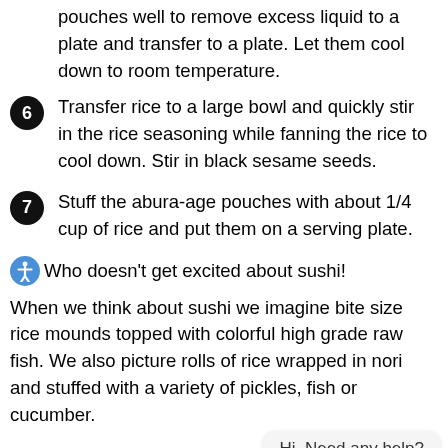(partial top) pouches well to remove excess liquid to a plate and transfer to a plate. Let them cool down to room temperature.
6 Transfer rice to a large bowl and quickly stir in the rice seasoning while fanning the rice to cool down. Stir in black sesame seeds.
7 Stuff the abura-age pouches with about 1/4 cup of rice and put them on a serving plate.
Who doesn’t get excited about sushi!
When we think about sushi we imagine bite size rice mounds topped with colorful high grade raw fish. We also picture rolls of rice wrapped in nori and stuffed with a variety of pickles, fish or cucumber.
But there’s another less known type of sushi that’s extremely popular in Japan – inari sushi. With its sweet and vinegary taste, inari sushi is a home style stuff sushi that makes a great addition to bento boxes and packed lunches. It’s easy to carry around and is so